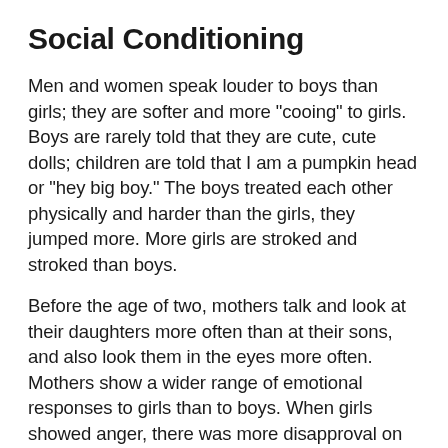Social Conditioning
Men and women speak louder to boys than girls; they are softer and more "cooing" to girls. Boys are rarely told that they are cute, cute dolls; children are told that I am a pumpkin head or "hey big boy." The boys treated each other physically and harder than the girls, they jumped more. More girls are stroked and stroked than boys.
Before the age of two, mothers talk and look at their daughters more often than at their sons, and also look them in the eyes more often. Mothers show a wider range of emotional responses to girls than to boys. When girls showed anger, there was more disapproval on the faces of the mothers than when boys showed anger.